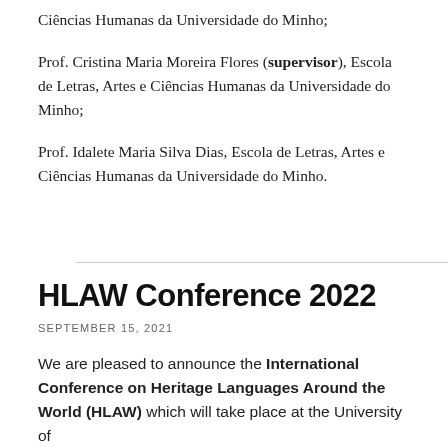Ciências Humanas da Universidade do Minho;
Prof. Cristina Maria Moreira Flores (supervisor), Escola de Letras, Artes e Ciências Humanas da Universidade do Minho;
Prof. Idalete Maria Silva Dias, Escola de Letras, Artes e Ciências Humanas da Universidade do Minho.
HLAW Conference 2022
SEPTEMBER 15, 2021
We are pleased to announce the International Conference on Heritage Languages Around the World (HLAW) which will take place at the University of...